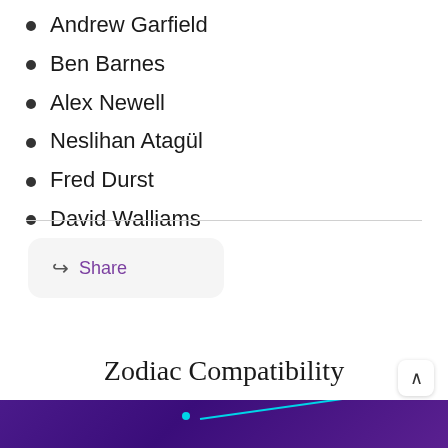Andrew Garfield
Ben Barnes
Alex Newell
Neslihan Atagül
Fred Durst
David Walliams
Share
Zodiac Compatibility
[Figure (illustration): Purple/violet gradient background with a cyan diagonal line and dot, representing a zodiac compatibility chart image.]